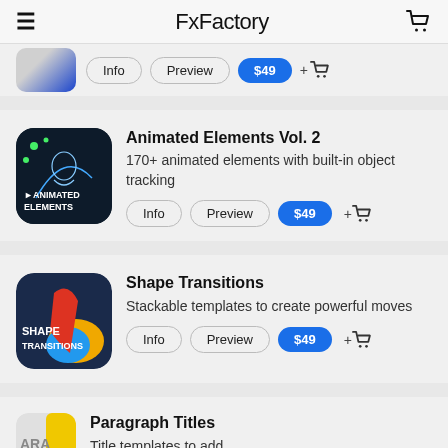FxFactory
[Figure (screenshot): Partially visible product thumbnail with blue gradient, showing Info, Preview, $49 buttons and cart icon]
Animated Elements Vol. 2
170+ animated elements with built-in object tracking
[Figure (screenshot): Animated Elements Vol. 2 app icon: dark navy background with green dots and geometric lines, text ANIMATED ELEMENTS]
Shape Transitions
Stackable templates to create powerful moves
[Figure (screenshot): Shape Transitions app icon: dark navy and colorful shape blobs (red, yellow, blue) with text SHAPE TRANSITIONS]
Paragraph Titles
Title templates to add